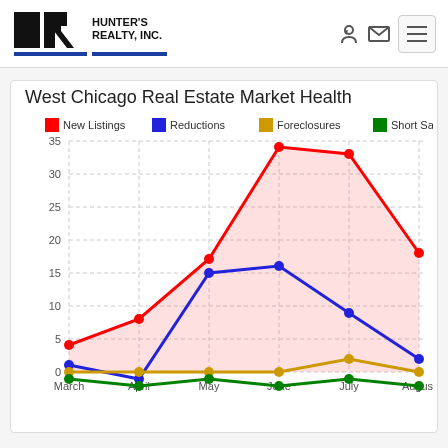Hunter's Realty, Inc. — navigation header
West Chicago Real Estate Market Health
[Figure (line-chart): West Chicago Real Estate Market Health]